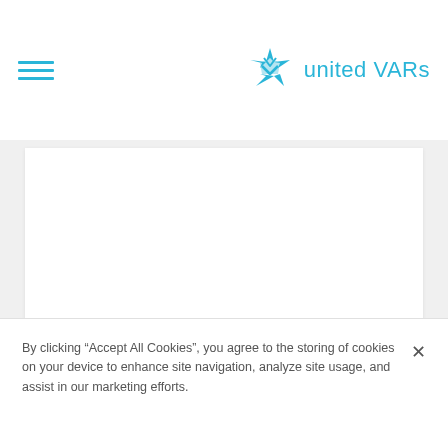[Figure (logo): United VARs logo with cyan star/arrow icon and text 'united VARs']
[Figure (screenshot): White content card area below the header, mostly empty/blank page content]
By clicking "Accept All Cookies", you agree to the storing of cookies on your device to enhance site navigation, analyze site usage, and assist in our marketing efforts.